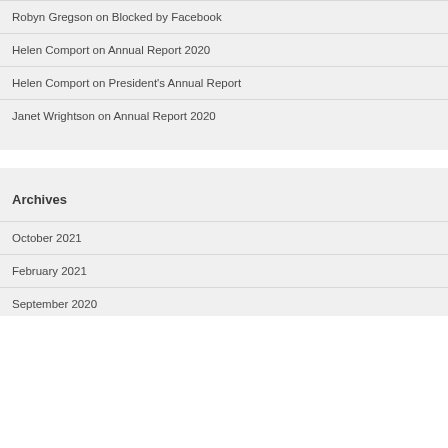Robyn Gregson on Blocked by Facebook
Helen Comport on Annual Report 2020
Helen Comport on President's Annual Report
Janet Wrightson on Annual Report 2020
Archives
October 2021
February 2021
September 2020